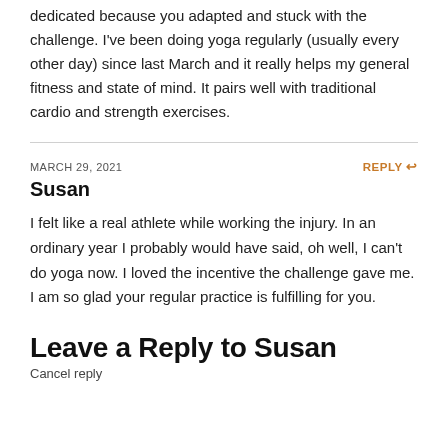dedicated because you adapted and stuck with the challenge. I've been doing yoga regularly (usually every other day) since last March and it really helps my general fitness and state of mind. It pairs well with traditional cardio and strength exercises.
MARCH 29, 2021
REPLY
Susan
I felt like a real athlete while working the injury. In an ordinary year I probably would have said, oh well, I can't do yoga now. I loved the incentive the challenge gave me. I am so glad your regular practice is fulfilling for you.
Leave a Reply to Susan
Cancel reply